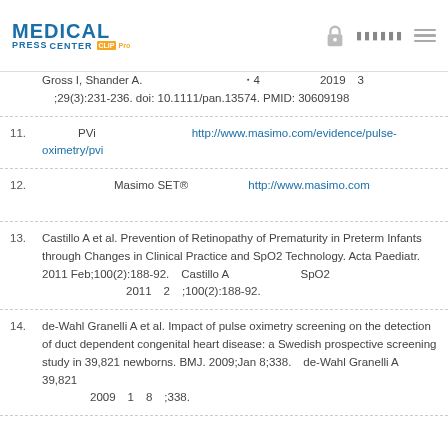MEDICAL PRESS CENTER CUR-Pro
Gross I, Shander A. [Japanese text] 4 [Japanese text] 2019 3 [Japanese text];29(3):231-236. doi: 10.1111/pan.13574. PMID: 30609198[Japanese text]
11. [Japanese text]PVi[Japanese text]http://www.masimo.com/evidence/pulse-oximetry/pvi[Japanese text]
12. [Japanese text]Masimo SET®[Japanese text]http://www.masimo.com[Japanese text]
13. Castillo A et al. Prevention of Retinopathy of Prematurity in Preterm Infants through Changes in Clinical Practice and SpO2 Technology. Acta Paediatr. 2011 Feb;100(2):188-92. Castillo A[Japanese text]SpO2[Japanese text] 2011[Japanese text]2[Japanese text];100(2):188-92.
14. de-Wahl Granelli A et al. Impact of pulse oximetry screening on the detection of duct dependent congenital heart disease: a Swedish prospective screening study in 39,821 newborns. BMJ. 2009;Jan 8;338. de-Wahl Granelli A[Japanese text] 39,821[Japanese text] 2009[Japanese text]1[Japanese text]8[Japanese text];338.